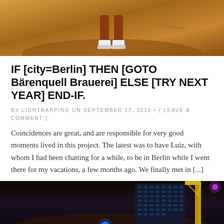[Figure (photo): Top portion of a photo showing a person's legs/feet at the bottom, with warm orange/brown tones, appears to be an outdoor urban or skate setting]
IF [city=Berlin] THEN [GOTO Bärenquell Brauerei] ELSE [TRY NEXT YEAR] END-IF.
BY LIGHTRAPPING ON SEPTEMBER 17, 2019 • ( LEAVE A COMMENT )
Coincidences are great, and are responsible for very good moments lived in this project. The latest was to have Luiz, with whom I had been chatting for a while, to be in Berlin while I went there for my vacations, a few months ago. We finally met in [...]
[Figure (photo): Bottom portion of a nighttime cityscape photo showing a tall dark building with grid windows, a yellow construction crane on the right, a small illuminated figure in the middle distance, and a purple/pink light in the upper right corner]